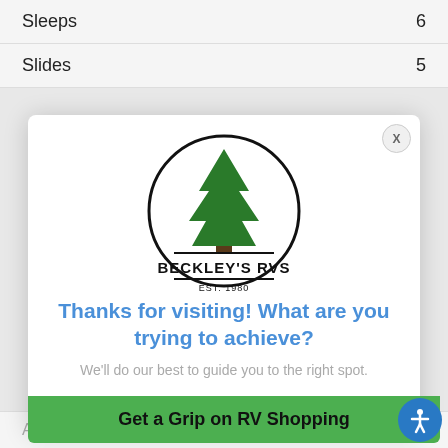| Sleeps | 6 |
| Slides | 5 |
[Figure (logo): Beckley's RVs logo — circle with pine tree, text BECKLEY'S RVS, EST. 1980]
Thanks for visiting! What are you trying to achieve?
We'll do our best to guide you to the right spot.
Get a Grip on RV Shopping
| Available Beds | Queen |